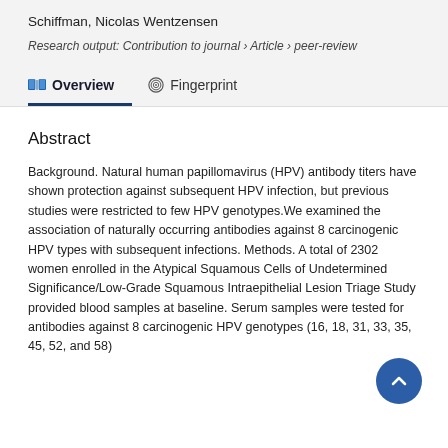Schiffman, Nicolas Wentzensen
Research output: Contribution to journal › Article › peer-review
Overview
Fingerprint
Abstract
Background. Natural human papillomavirus (HPV) antibody titers have shown protection against subsequent HPV infection, but previous studies were restricted to few HPV genotypes.We examined the association of naturally occurring antibodies against 8 carcinogenic HPV types with subsequent infections. Methods. A total of 2302 women enrolled in the Atypical Squamous Cells of Undetermined Significance/Low-Grade Squamous Intraepithelial Lesion Triage Study provided blood samples at baseline. Serum samples were tested for antibodies against 8 carcinogenic HPV genotypes (16, 18, 31, 33, 35, 45, 52, and 58)